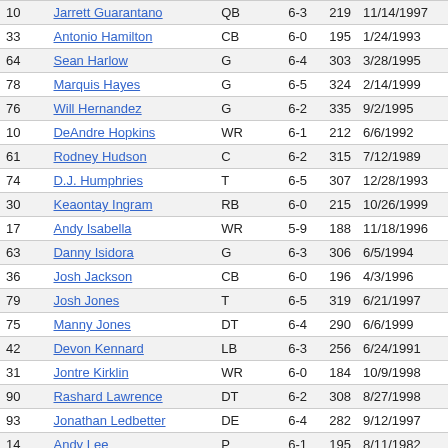| # | Name | Pos | Ht | Wt | DOB |
| --- | --- | --- | --- | --- | --- |
| 10 | Jarrett Guarantano | QB | 6-3 | 219 | 11/14/1997 |
| 33 | Antonio Hamilton | CB | 6-0 | 195 | 1/24/1993 |
| 64 | Sean Harlow | G | 6-4 | 303 | 3/28/1995 |
| 78 | Marquis Hayes | G | 6-5 | 324 | 2/14/1999 |
| 76 | Will Hernandez | G | 6-2 | 335 | 9/2/1995 |
| 10 | DeAndre Hopkins | WR | 6-1 | 212 | 6/6/1992 |
| 61 | Rodney Hudson | C | 6-2 | 315 | 7/12/1989 |
| 74 | D.J. Humphries | T | 6-5 | 307 | 12/28/1993 |
| 30 | Keaontay Ingram | RB | 6-0 | 215 | 10/26/1999 |
| 17 | Andy Isabella | WR | 5-9 | 188 | 11/18/1996 |
| 63 | Danny Isidora | G | 6-3 | 306 | 6/5/1994 |
| 36 | Josh Jackson | CB | 6-0 | 196 | 4/3/1996 |
| 79 | Josh Jones | T | 6-5 | 319 | 6/21/1997 |
| 75 | Manny Jones | DT | 6-4 | 290 | 6/6/1999 |
| 42 | Devon Kennard | LB | 6-3 | 256 | 6/24/1991 |
| 31 | Jontre Kirklin | WR | 6-0 | 184 | 10/9/1998 |
| 90 | Rashard Lawrence | DT | 6-2 | 308 | 8/27/1998 |
| 93 | Jonathan Ledbetter | DE | 6-4 | 282 | 9/12/1997 |
| 14 | Andy Lee | P | 6-1 | 195 | 8/11/1982 |